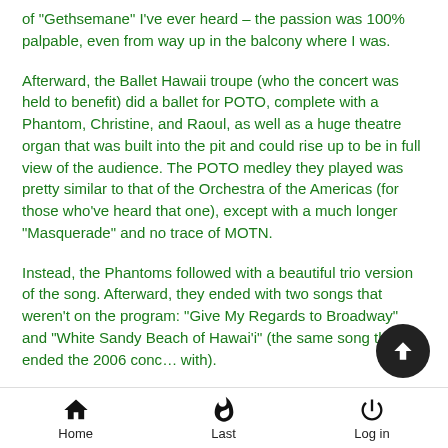of "Gethsemane" I've ever heard – the passion was 100% palpable, even from way up in the balcony where I was.
Afterward, the Ballet Hawaii troupe (who the concert was held to benefit) did a ballet for POTO, complete with a Phantom, Christine, and Raoul, as well as a huge theatre organ that was built into the pit and could rise up to be in full view of the audience. The POTO medley they played was pretty similar to that of the Orchestra of the Americas (for those who've heard that one), except with a much longer "Masquerade" and no trace of MOTN.
Instead, the Phantoms followed with a beautiful trio version of the song. Afterward, they ended with two songs that weren't on the program: "Give My Regards to Broadway" and "White Sandy Beach of Hawai'i" (the same song they ended the 2006 conc… with).
Home   Last   Log in